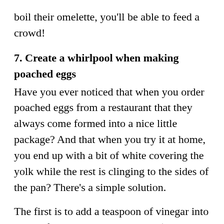boil their omelette, you'll be able to feed a crowd!
7. Create a whirlpool when making poached eggs
Have you ever noticed that when you order poached eggs from a restaurant that they always come formed into a nice little package? And that when you try it at home, you end up with a bit of white covering the yolk while the rest is clinging to the sides of the pan? There's a simple solution.
The first is to add a teaspoon of vinegar into a pan of barely simmering water (poached eggs should never be cooked in boiling water). Then, using a wooden spoon, swirl the water vigorously in one direction so it resembles a whirlpool. Then, and only then, gently drop in your egg. The vinegar will help keep the white from running all over the pan, and the whirlpool will force it to stay